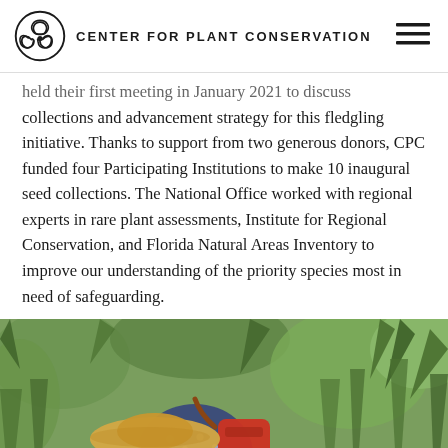CENTER FOR PLANT CONSERVATION
held their first meeting in January 2021 to discuss collections and advancement strategy for this fledgling initiative. Thanks to support from two generous donors, CPC funded four Participating Institutions to make 10 inaugural seed collections. The National Office worked with regional experts in rare plant assessments, Institute for Regional Conservation, and Florida Natural Areas Inventory to improve our understanding of the priority species most in need of safeguarding.
[Figure (photo): A person wearing a straw hat and floral shirt with a red backpack, bending over vegetation in a natural area with low shrubs and palms.]